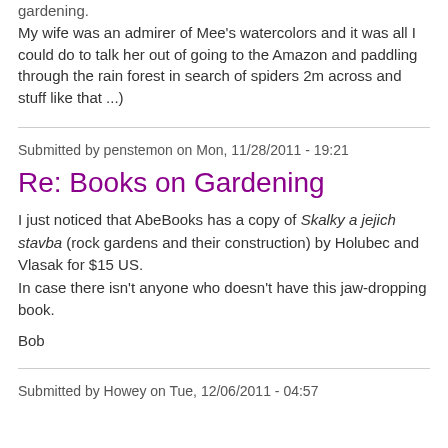gardening.
My wife was an admirer of Mee's watercolors and it was all I could do to talk her out of going to the Amazon and paddling through the rain forest in search of spiders 2m across and stuff like that ...)
Submitted by penstemon on Mon, 11/28/2011 - 19:21
Re: Books on Gardening
I just noticed that AbeBooks has a copy of Skalky a jejich stavba (rock gardens and their construction) by Holubec and Vlasak for $15 US.
In case there isn't anyone who doesn't have this jaw-dropping book.

Bob
Submitted by Howey on Tue, 12/06/2011 - 04:57